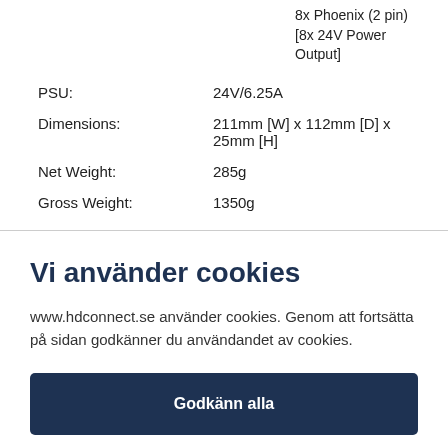8x Phoenix (2 pin) [8x 24V Power Output]
| PSU: | 24V/6.25A |
| Dimensions: | 211mm [W] x 112mm [D] x 25mm [H] |
| Net Weight: | 285g |
| Gross Weight: | 1350g |
Vi använder cookies
www.hdconnect.se använder cookies. Genom att fortsätta på sidan godkänner du användandet av cookies.
Godkänn alla
Inställningar